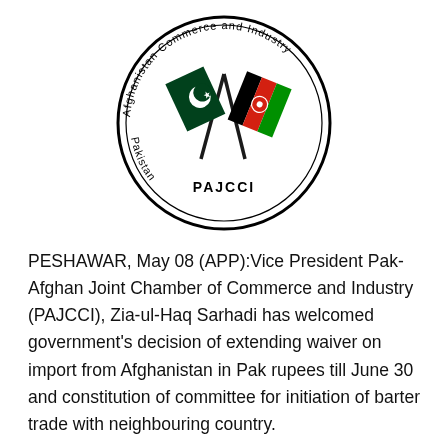[Figure (logo): Circular seal/logo of Pakistan-Afghanistan Joint Chamber of Commerce and Industry (PAJCCI). The circle contains text 'Afghanistan Commerce and Industry' around the top arc and 'Pakistan' around the bottom arc, with 'PAJCCI' printed at the bottom inside. In the center are the crossed flags of Pakistan (green with white crescent and star) and Afghanistan (black, red, green with emblem).]
PESHAWAR, May 08 (APP):Vice President Pak-Afghan Joint Chamber of Commerce and Industry (PAJCCI), Zia-ul-Haq Sarhadi has welcomed government's decision of extending waiver on import from Afghanistan in Pak rupees till June 30 and constitution of committee for initiation of barter trade with neighbouring country.